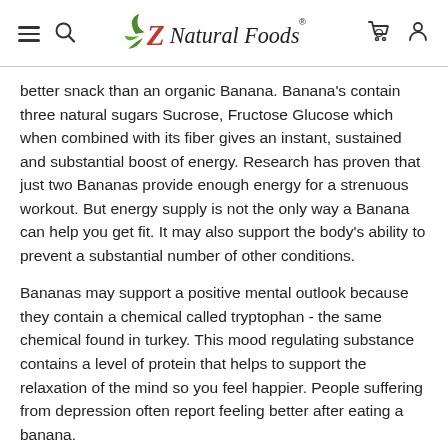Z Natural Foods
better snack than an organic Banana. Banana's contain three natural sugars Sucrose, Fructose Glucose which when combined with its fiber gives an instant, sustained and substantial boost of energy. Research has proven that just two Bananas provide enough energy for a strenuous workout. But energy supply is not the only way a Banana can help you get fit. It may also support the body's ability to prevent a substantial number of other conditions.
Bananas may support a positive mental outlook because they contain a chemical called tryptophan - the same chemical found in turkey. This mood regulating substance contains a level of protein that helps to support the relaxation of the mind so you feel happier. People suffering from depression often report feeling better after eating a banana.
Our Organic Banana flakes also great as a n... face mask. Just mix it into a little bit of plain y...
[Figure (logo): TrustedSite CERTIFIED SECURE badge in bottom right corner]